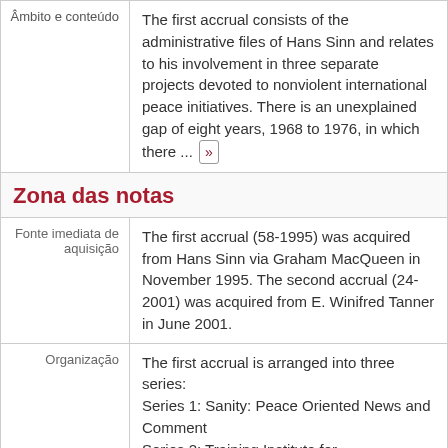| Âmbito e conteúdo |  |
| --- | --- |
| Âmbito e conteúdo | The first accrual consists of the administrative files of Hans Sinn and relates to his involvement in three separate projects devoted to nonviolent international peace initiatives. There is an unexplained gap of eight years, 1968 to 1976, in which there ... » |
Zona das notas
| Fonte imediata de aquisição | Organização |
| --- | --- |
| Fonte imediata de aquisição | The first accrual (58-1995) was acquired from Hans Sinn via Graham MacQueen in November 1995. The second accrual (24-2001) was acquired from E. Winifred Tanner in June 2001. |
| Organização | The first accrual is arranged into three series:
Series 1: Sanity: Peace Oriented News and Comment
Series 2: Training Institute for |